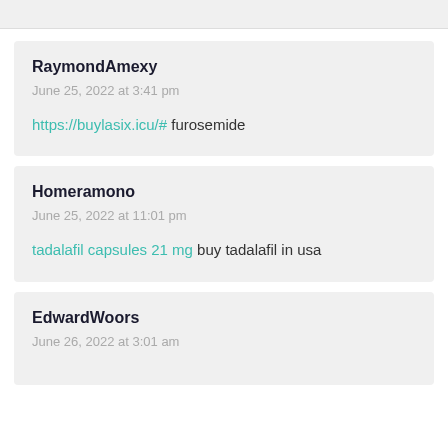RaymondAmexy
June 25, 2022 at 3:41 pm
https://buylasix.icu/# furosemide
Homeramono
June 25, 2022 at 11:01 pm
tadalafil capsules 21 mg buy tadalafil in usa
EdwardWoors
June 26, 2022 at 3:01 am